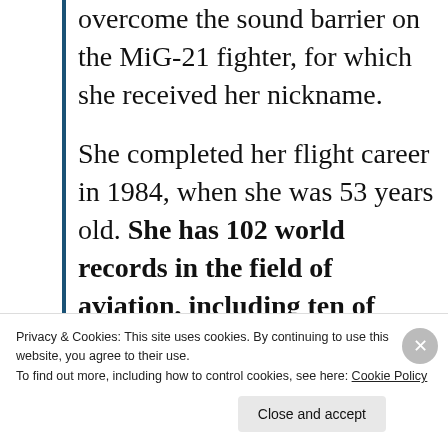Popovich was the first woman to overcome the sound barrier on the MiG-21 fighter, for which she received her nickname. She completed her flight career in 1984, when she was 53 years old. She has 102 world records in the field of aviation, including ten of them on the Antonov An-22 Antei heavy aircraft. She mastered more than 40 types of aircraft and helicopters,
Privacy & Cookies: This site uses cookies. By continuing to use this website, you agree to their use. To find out more, including how to control cookies, see here: Cookie Policy
Close and accept